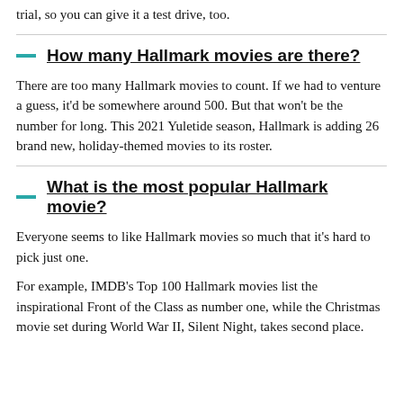trial, so you can give it a test drive, too.
How many Hallmark movies are there?
There are too many Hallmark movies to count. If we had to venture a guess, it'd be somewhere around 500. But that won't be the number for long. This 2021 Yuletide season, Hallmark is adding 26 brand new, holiday-themed movies to its roster.
What is the most popular Hallmark movie?
Everyone seems to like Hallmark movies so much that it's hard to pick just one.
For example, IMDB's Top 100 Hallmark movies list the inspirational Front of the Class as number one, while the Christmas movie set during World War II, Silent Night, takes second place.